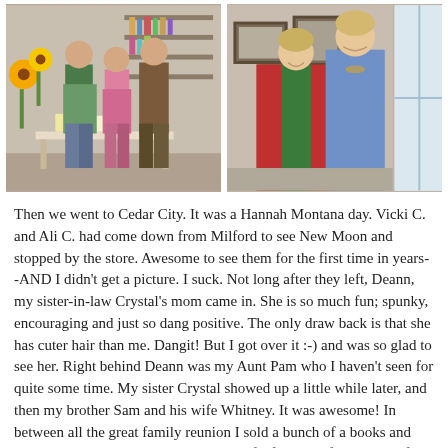[Figure (photo): Left photo: Group of people standing together in what appears to be a store, with a table in front of them. Right photo: Two women smiling together in what appears to be a store or gallery.]
Then we went to Cedar City. It was a Hannah Montana day. Vicki C. and Ali C. had come down from Milford to see New Moon and stopped by the store. Awesome to see them for the first time in years--AND I didn't get a picture. I suck. Not long after they left, Deann, my sister-in-law Crystal's mom came in. She is so much fun; spunky, encouraging and just so dang positive. The only draw back is that she has cuter hair than me. Dangit! But I got over it :-) and was so glad to see her. Right behind Deann was my Aunt Pam who I haven't seen for quite some time. My sister Crystal showed up a little while later, and then my brother Sam and his wife Whitney. It was awesome! In between all the great family reunion I sold a bunch of a books and THEN Lee Modesitt showed up with gifts for Julie; five copies of his books in Swedish! Lee has been a great friend and mentor to Julie for quite some time and it was awesome that he took the time to come and see her.